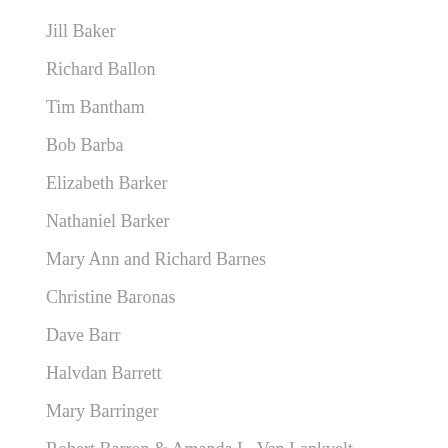Jill Baker
Richard Ballon
Tim Bantham
Bob Barba
Elizabeth Barker
Nathaniel Barker
Mary Ann and Richard Barnes
Christine Baronas
Dave Barr
Halvdan Barrett
Mary Barringer
Robert Barron & Amanda L. Van Lankvelt